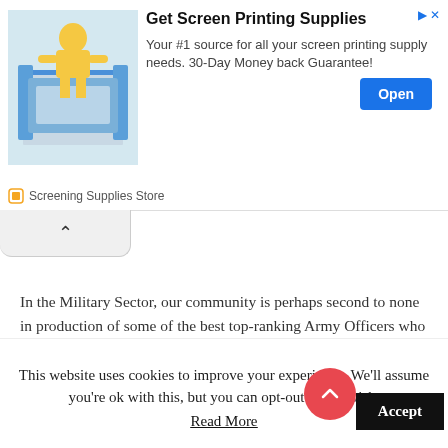[Figure (screenshot): Advertisement banner for 'Get Screen Printing Supplies' with image of person using screen printing equipment, Open button, and Screening Supplies Store label]
In the Military Sector, our community is perhaps second to none in production of some of the best top-ranking Army Officers who have occupied strategic positions in the affairs of the country. During the first Military takeover in Nigeria in the year 1966, Lt. Col. Emeka Odumegwu Ojuwku, “IKEMBA NNEWI” became the first Military Governor of Eastern Nigeria Government and the leader of Biafra till 1970. Major General Sam Momah (CFR) (Ugomba Nnewi) a two-term Federal Ministry of Science and Technology and Lt. Col. L. G. Ufodike have both held responsible offices in the Nigerian Army before they
This website uses cookies to improve your experience. We'll assume you're ok with this, but you can opt-out if you wish.
Read More